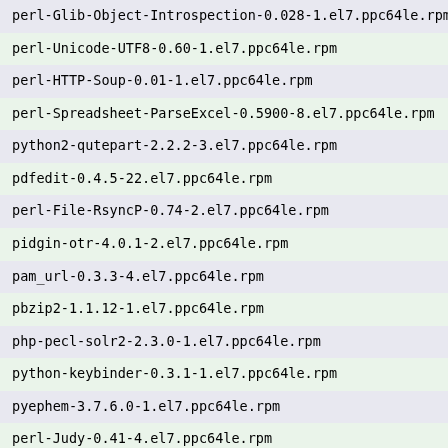perl-Glib-Object-Introspection-0.028-1.el7.ppc64le.rpm
perl-Unicode-UTF8-0.60-1.el7.ppc64le.rpm
perl-HTTP-Soup-0.01-1.el7.ppc64le.rpm
perl-Spreadsheet-ParseExcel-0.5900-8.el7.ppc64le.rpm
python2-qutepart-2.2.2-3.el7.ppc64le.rpm
pdfedit-0.4.5-22.el7.ppc64le.rpm
perl-File-RsyncP-0.74-2.el7.ppc64le.rpm
pidgin-otr-4.0.1-2.el7.ppc64le.rpm
pam_url-0.3.3-4.el7.ppc64le.rpm
pbzip2-1.1.12-1.el7.ppc64le.rpm
php-pecl-solr2-2.3.0-1.el7.ppc64le.rpm
python-keybinder-0.3.1-1.el7.ppc64le.rpm
pyephem-3.7.6.0-1.el7.ppc64le.rpm
perl-Judy-0.41-4.el7.ppc64le.rpm
perl-Term-Size-0.207-4.el7.ppc64le.rpm